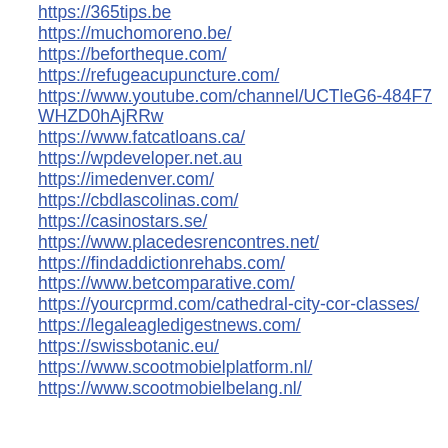https://365tips.be
https://muchomoreno.be/
https://befortheque.com/
https://refugeacupuncture.com/
https://www.youtube.com/channel/UCTleG6-484F7WHZD0hAjRRw
https://www.fatcatloans.ca/
https://wpdeveloper.net.au
https://imedenver.com/
https://cbdlascolinas.com/
https://casinostars.se/
https://www.placedesrencontres.net/
https://findaddictionrehabs.com/
https://www.betcomparative.com/
https://yourcprmd.com/cathedral-city-cor-classes/
https://legaleagledigestnews.com/
https://swissbotanic.eu/
https://www.scootmobielplatform.nl/
https://www.scootmobielbelang.nl/